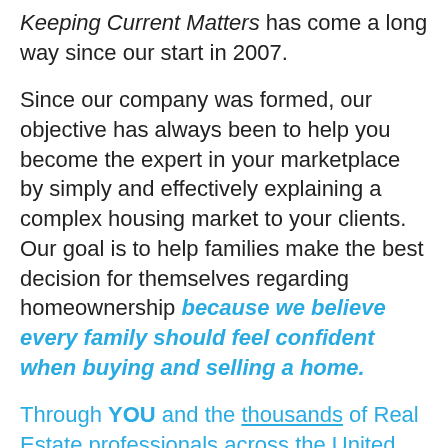Keeping Current Matters has come a long way since our start in 2007.
Since our company was formed, our objective has always been to help you become the expert in your marketplace by simply and effectively explaining a complex housing market to your clients. Our goal is to help families make the best decision for themselves regarding homeownership because we believe every family should feel confident when buying and selling a home.
Through YOU and the thousands of Real Estate professionals across the United States who are also committed to educating the families they work with, we've been able to help hundreds of thousands of people. And that number just keeps